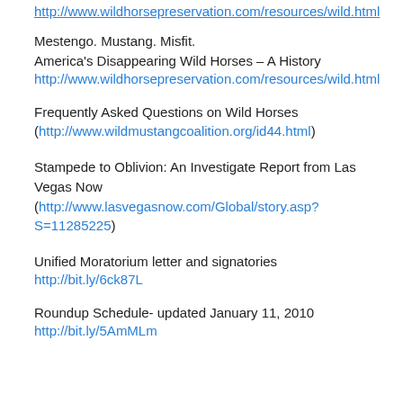Mestengo. Mustang. Misfit.
America's Disappearing Wild Horses – A History
http://www.wildhorsepreservation.com/resources/wild.html
Frequently Asked Questions on Wild Horses
(http://www.wildmustangcoalition.org/id44.html)
Stampede to Oblivion: An Investigate Report from Las Vegas Now
(http://www.lasvegasnow.com/Global/story.asp?S=11285225)
Unified Moratorium letter and signatories
http://bit.ly/6ck87L
Roundup Schedule- updated January 11, 2010
http://bit.ly/5AmMLm